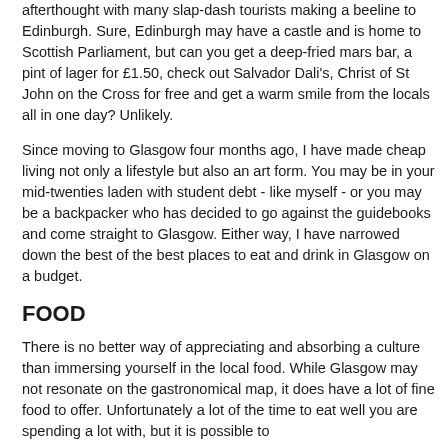afterthought with many slap-dash tourists making a beeline to Edinburgh. Sure, Edinburgh may have a castle and is home to Scottish Parliament, but can you get a deep-fried mars bar, a pint of lager for £1.50, check out Salvador Dali's, Christ of St John on the Cross for free and get a warm smile from the locals all in one day? Unlikely.
Since moving to Glasgow four months ago, I have made cheap living not only a lifestyle but also an art form. You may be in your mid-twenties laden with student debt - like myself - or you may be a backpacker who has decided to go against the guidebooks and come straight to Glasgow. Either way, I have narrowed down the best of the best places to eat and drink in Glasgow on a budget.
FOOD
There is no better way of appreciating and absorbing a culture than immersing yourself in the local food. While Glasgow may not resonate on the gastronomical map, it does have a lot of fine food to offer. Unfortunately a lot of the time to eat well you are spending a lot with, but it is possible to